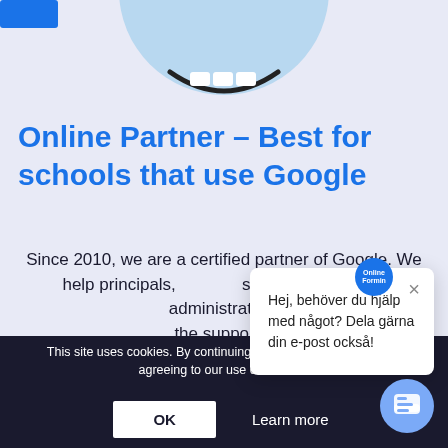[Figure (illustration): Partial illustration of a character/mascot at the top center, blue rectangle in top-left corner]
Online Partner – Best for schools that use Google
Since 2010, we are a certified partner of Google. We help principals, strategists administration, the support o…
Several of our employees have m… years …rience from the teaching …ession, as school
This site uses cookies. By continuing to browse the site, you are agreeing to our use of cookies.
OK   Learn more
Hej, behöver du hjälp med något? Dela gärna din e-post också!